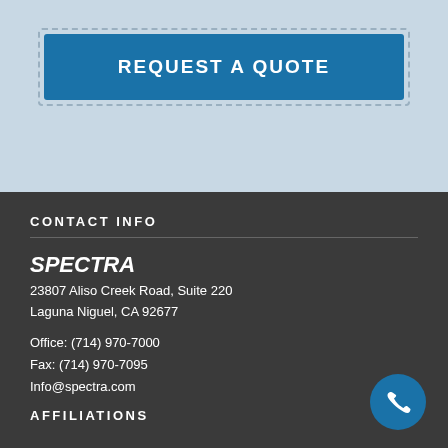REQUEST A QUOTE
CONTACT INFO
SPECTRA
23807 Aliso Creek Road, Suite 220
Laguna Niguel, CA 92677
Office: (714) 970-7000
Fax: (714) 970-7095
Info@spectra.com
AFFILIATIONS